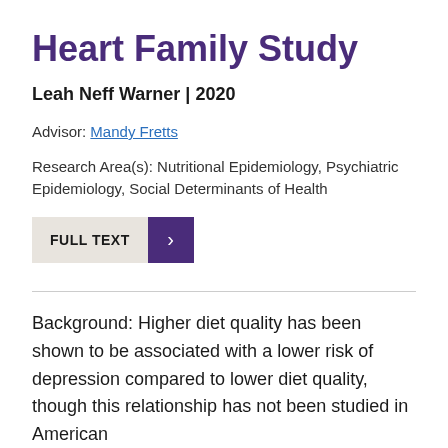Heart Family Study
Leah Neff Warner | 2020
Advisor: Mandy Fretts
Research Area(s): Nutritional Epidemiology, Psychiatric Epidemiology, Social Determinants of Health
[Figure (other): FULL TEXT button with purple arrow]
Background: Higher diet quality has been shown to be associated with a lower risk of depression compared to lower diet quality, though this relationship has not been studied in American